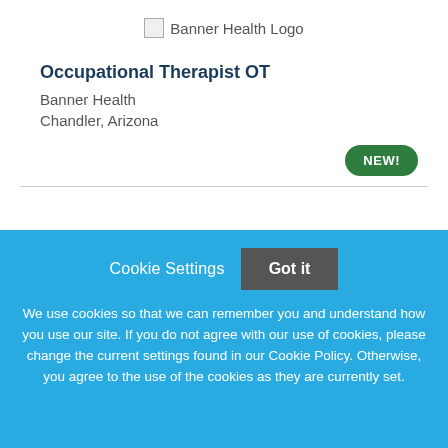[Figure (logo): Banner Health Logo placeholder image with text 'Banner Health Logo']
Occupational Therapist OT
Banner Health
Chandler, Arizona
NEW!
Cookie Settings  Got it
We use cookies so that we can remember you and understand how you use our site. If you do not agree with our use of cookies, please change the current settings found in our Cookie Policy. Otherwise, you agree to the use of the cookies as they are currently set.